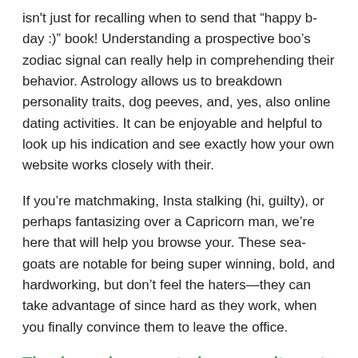isn't just for recalling when to send that “happy b-day :)” book! Understanding a prospective boo’s zodiac signal can really help in comprehending their behavior. Astrology allows us to breakdown personality traits, dog peeves, and, yes, also online dating activities. It can be enjoyable and helpful to look up his indication and see exactly how your own website works closely with their.
If you’re matchmaking, Insta stalking (hi, guilty), or perhaps fantasizing over a Capricorn man, we’re here that will help you browse your. These sea-goats are notable for being super winning, bold, and hardworking, but don’t feel the haters—they can take advantage of since hard as they work, when you finally convince them to leave the office.
Thank goodness, astrology permits us to understand identity attributes, pet peeves, and a whole lot